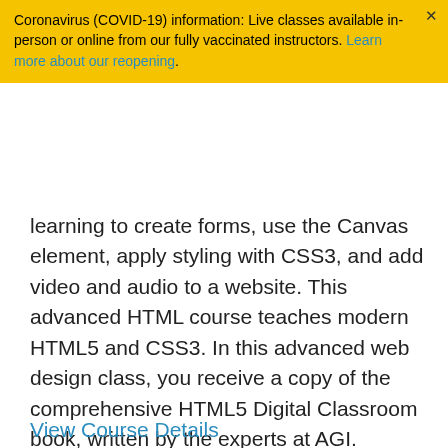Coronavirus (COVID-19) information: Live classes available in-person or online from our fully vaccinated instructors. Learn more about our reopening.
learning to create forms, use the Canvas element, apply styling with CSS3, and add video and audio to a website. This advanced HTML course teaches modern HTML5 and CSS3. In this advanced web design class, you receive a copy of the comprehensive HTML5 Digital Classroom book, written by the experts at AGI. Experience with all topics covered in the introductory HTML web design class is expected for those enrolling in this course.
View Course Details